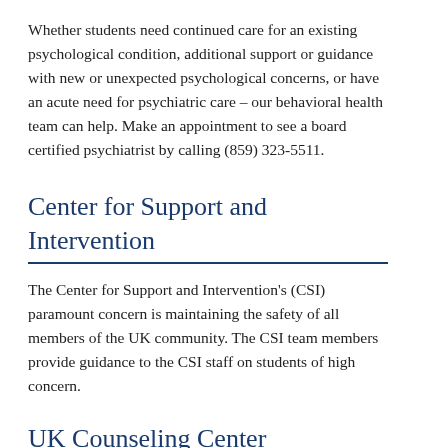Whether students need continued care for an existing psychological condition, additional support or guidance with new or unexpected psychological concerns, or have an acute need for psychiatric care – our behavioral health team can help. Make an appointment to see a board certified psychiatrist by calling (859) 323-5511.
Center for Support and Intervention
The Center for Support and Intervention's (CSI) paramount concern is maintaining the safety of all members of the UK community. The CSI team members provide guidance to the CSI staff on students of high concern.
UK Counseling Center